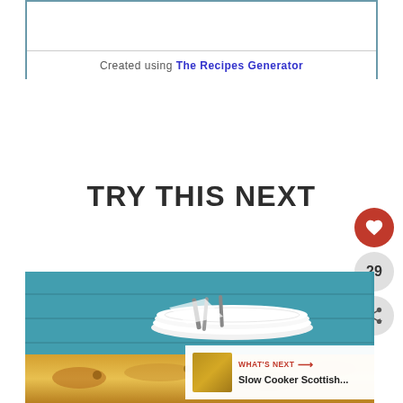Created using The Recipes Generator
TRY THIS NEXT
[Figure (photo): Food photo showing stacked white plates with silverware against a teal/blue wooden plank background, with a golden-brown baked dish in the foreground. A 'What's Next' overlay shows a thumbnail and text 'Slow Cooker Scottish...']